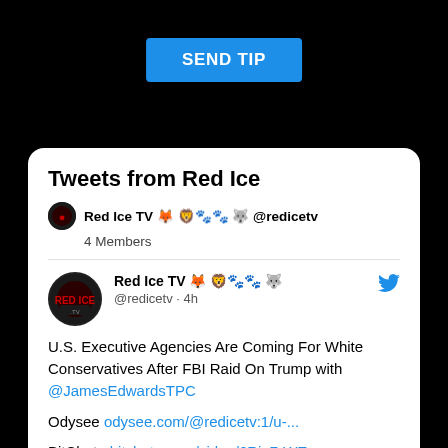SEND TIP
Tweets from Red Ice
Red Ice TV 🦊 🐺 @redicetv
4 Members
Red Ice TV 🦊 🐺 @redicetv · 4h
U.S. Executive Agencies Are Coming For White Conservatives After FBI Raid On Trump with @JamesEdwardsTPC
Odysee odysee.com/@redicetv:1/u-...
BitChute bitchute.com/video/6Ria7rWE...